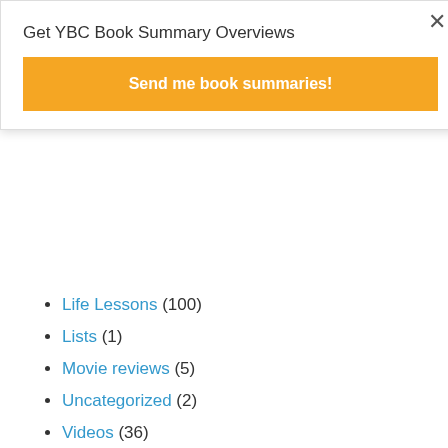Get YBC Book Summary Overviews
Send me book summaries!
Life Lessons (100)
Lists (1)
Movie reviews (5)
Uncategorized (2)
Videos (36)
SUPPORT THIS BLOG!
[Figure (photo): Floral image showing pink flowers for blog support section]